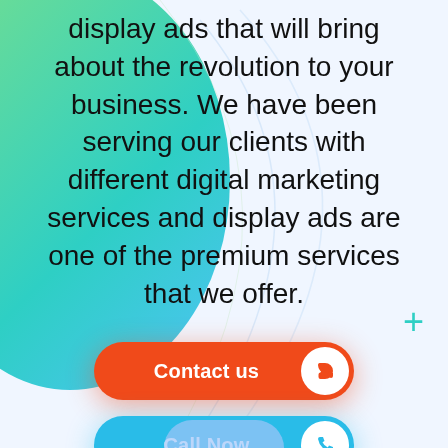[Figure (illustration): Green to teal gradient decorative circle on the left side of the page, with faint arc/curve lines in the background]
display ads that will bring about the revolution to your business. We have been serving our clients with different digital marketing services and display ads are one of the premium services that we offer.
[Figure (infographic): Orange 'Contact us' button with phone receiver icon in white circle on the right]
[Figure (infographic): Blue 'Call Now' button with phone handset icon in white circle on the right]